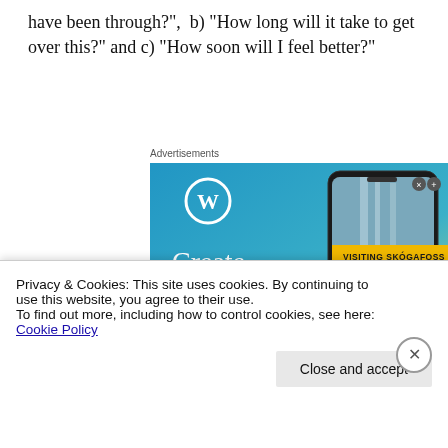have been through?",  b) "How long will it take to get over this?" and c) "How soon will I feel better?"
Advertisements
[Figure (screenshot): WordPress advertisement showing blue gradient background with WordPress logo, text 'Create immersive stories.' on the left, and a smartphone displaying a photo story labeled 'VISITING SKOGAFOSS' on the right.]
Privacy & Cookies: This site uses cookies. By continuing to use this website, you agree to their use.
To find out more, including how to control cookies, see here: Cookie Policy